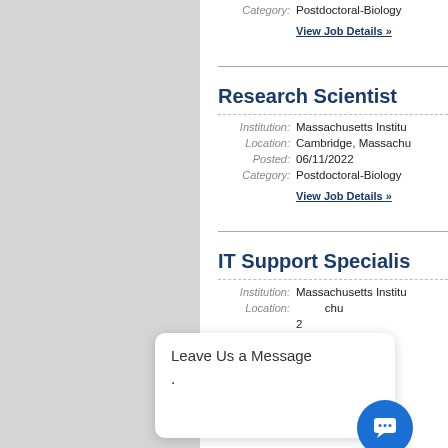Category: Postdoctoral-Biology
View Job Details »
Research Scientist
Institution: Massachusetts Institute of Technology
Location: Cambridge, Massachusetts
Posted: 06/11/2022
Category: Postdoctoral-Biology
View Job Details »
IT Support Specialist
Institution: Massachusetts Institute of Technology
Location: Cambridge, Massachusetts
Category: Postdoctoral-Biology